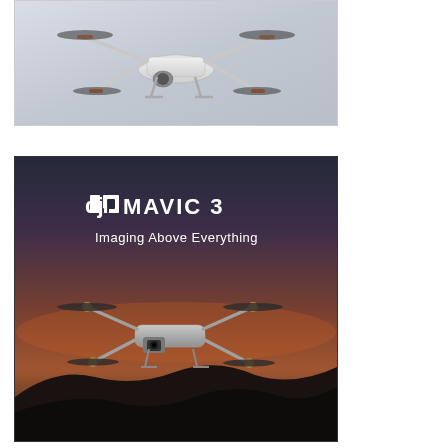[Figure (photo): DJI Mini drone product photo on light blue/grey background showing a white folding quadcopter drone from a front-angled view]
[Figure (photo): DJI Mavic 3 promotional image with dark background showing drone on rocky terrain at sunset with text 'dji MAVIC 3' and 'Imaging Above Everything']